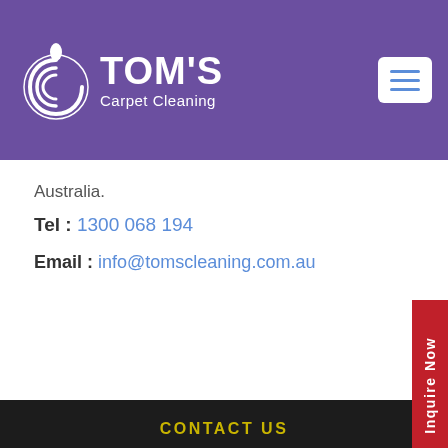[Figure (logo): Tom's Carpet Cleaning logo with swirl graphic on purple background header, plus hamburger menu icon]
Australia.
Tel : 1300 068 194
Email : info@tomscleaning.com.au
Inquire Now
CONTACT US
CALL NOW: 1300 068 194